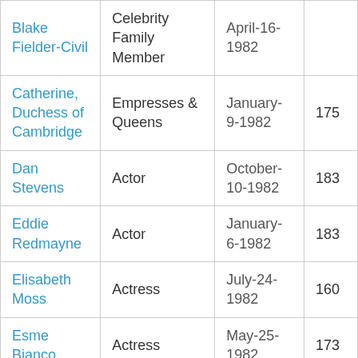| Name | Category | Date | Value |
| --- | --- | --- | --- |
| Blake Fielder-Civil | Celebrity Family Member | April-16-1982 |  |
| Catherine, Duchess of Cambridge | Empresses & Queens | January-9-1982 | 175 |
| Dan Stevens | Actor | October-10-1982 | 183 |
| Eddie Redmayne | Actor | January-6-1982 | 183 |
| Elisabeth Moss | Actress | July-24-1982 | 160 |
| Esme Bianco | Actress | May-25-1982 | 173 |